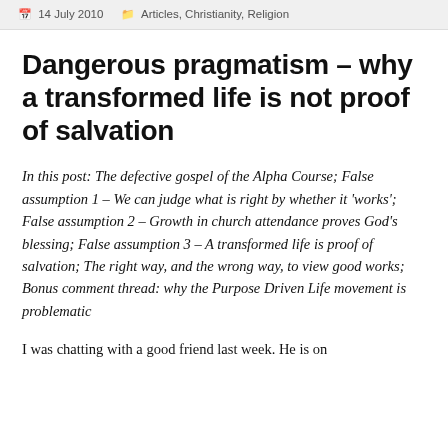14 July 2010   Articles, Christianity, Religion
Dangerous pragmatism – why a transformed life is not proof of salvation
In this post: The defective gospel of the Alpha Course; False assumption 1 – We can judge what is right by whether it 'works'; False assumption 2 – Growth in church attendance proves God's blessing; False assumption 3 – A transformed life is proof of salvation; The right way, and the wrong way, to view good works; Bonus comment thread: why the Purpose Driven Life movement is problematic
I was chatting with a good friend last week. He is on